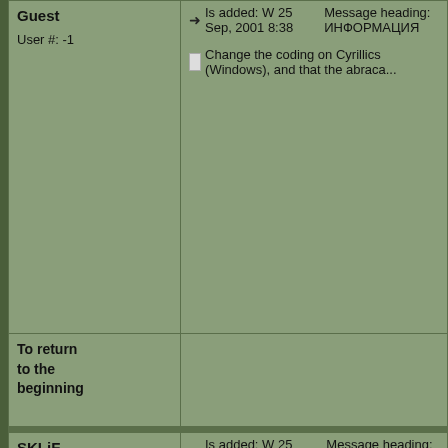Guest
User #: -1
➜Is added: W 25 Sep, 2001 8:38   Message heading: ИНФОРМАЦИЯ
Change the coding on Cyrillics (Windows), and that the abraca...
To return to the beginning
SKLiF [+][+]
Is registered: 25.05.2001
User #: 1
Messages: 5955
From where: Москва
➜Is added: W 25 Sep, 2001 13:45   Message heading: ИНФОРМАЦИЯ
hm... strange, ok I will look...